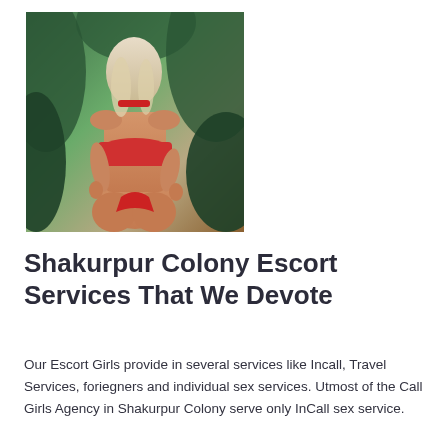[Figure (photo): A woman with blonde hair wearing a red bikini top and thong bottoms, posed with her back to the camera in an outdoor garden setting with green foliage in the background.]
Shakurpur Colony Escort Services That We Devote
Our Escort Girls provide in several services like Incall, Travel Services, foriegners and individual sex services. Utmost of the Call Girls Agency in Shakurpur Colony serve only InCall sex service.